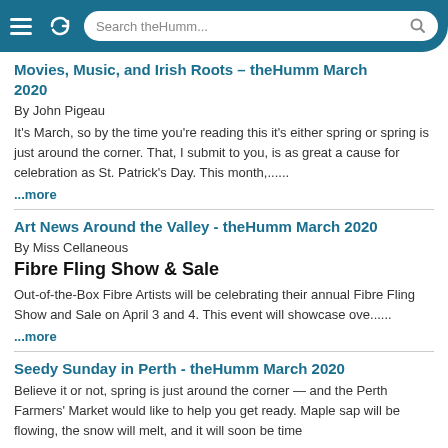Search theHumm...
Movies, Music, and Irish Roots – theHumm March 2020
By John Pigeau
It's March, so by the time you're reading this it's either spring or spring is just around the corner. That, I submit to you, is as great a cause for celebration as St. Patrick's Day. This month,......
...more
Art News Around the Valley - theHumm March 2020
By Miss Cellaneous
Fibre Fling Show & Sale
Out-of-the-Box Fibre Artists will be celebrating their annual Fibre Fling Show and Sale on April 3 and 4. This event will showcase ove......
...more
Seedy Sunday in Perth - theHumm March 2020
Believe it or not, spring is just around the corner — and the Perth Farmers' Market would like to help you get ready. Maple sap will be flowing, the snow will melt, and it will soon be time